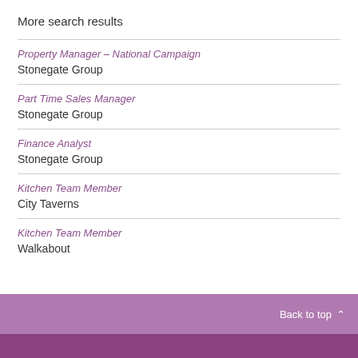More search results
Property Manager – National Campaign
Stonegate Group
Part Time Sales Manager
Stonegate Group
Finance Analyst
Stonegate Group
Kitchen Team Member
City Taverns
Kitchen Team Member
Walkabout
Back to top